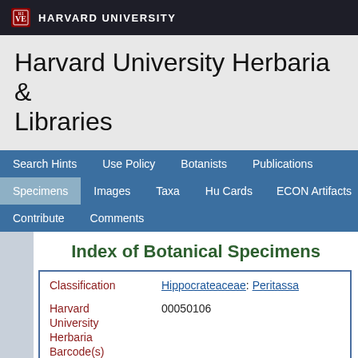HARVARD UNIVERSITY
Harvard University Herbaria & Libraries
Search Hints  Use Policy  Botanists  Publications  Specimens  Images  Taxa  Hu Cards  ECON Artifacts  Contribute  Comments
Index of Botanical Specimens
| Field | Value |
| --- | --- |
| Classification | Hippocrateaceae: Peritassa |
| Harvard University Herbaria Barcode(s) | 00050106 |
| Type Status | Isotype |
| Collector | Y. E. J. Mexia |
| Collector number | 5206 |
| Country | Brazil |